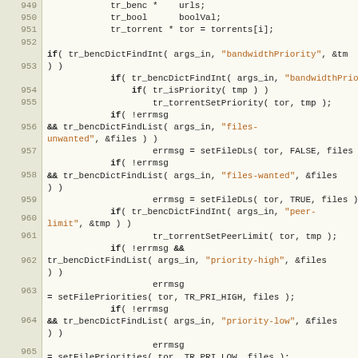[Figure (screenshot): Source code listing showing C code with line numbers 949-967, featuring function calls like tr_bencDictFindInt, tr_isPriority, tr_torrentSetPriority, setFileDLs, tr_bencDictFindList, tr_torrentSetPeerLimit, setFilePriorities with string literals highlighted in orange/brown]